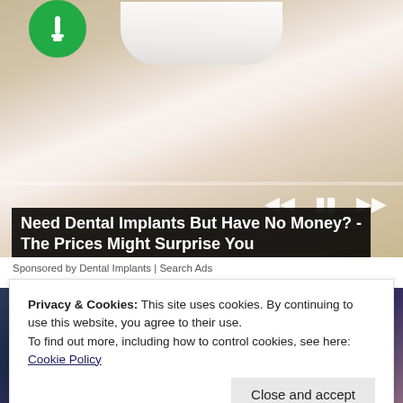[Figure (photo): Advertisement photo showing a smiling woman with white teeth, with a green circle logo/icon in the top-left corner and video player controls (previous, pause, next) in the lower right of the image with a progress bar.]
Need Dental Implants But Have No Money? - The Prices Might Surprise You
Sponsored by Dental Implants | Search Ads
[Figure (photo): Partial photo of a woman in a blue top.]
Privacy & Cookies: This site uses cookies. By continuing to use this website, you agree to their use.
To find out more, including how to control cookies, see here: Cookie Policy
Close and accept